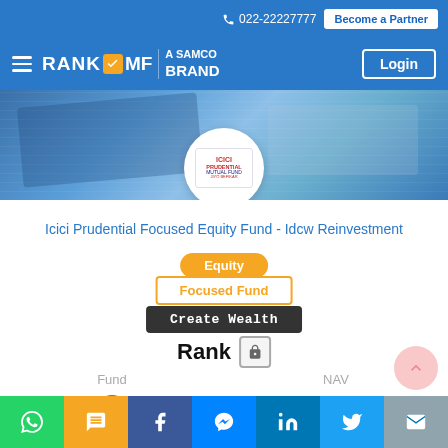📞 022-22227777  Become a Partner
[Figure (logo): RankMF - A Samco Brand navigation bar with Login button]
[Figure (photo): Hero banner image with money/financial background and ICICI Prudential Mutual Fund logo circle]
Icici Prudential Focused Equity Fund - Idcw Reinvestment
Equity
Focused Fund
Create Wealth
Rank 🔒
| Fund | NAV |
| --- | --- |
| [thumbs down icon] | ₹19.38 |
WhatsApp | SMS | Facebook | Messenger | LinkedIn | Twitter | Email